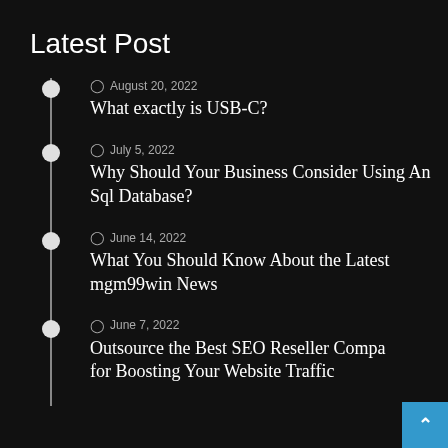Latest Post
August 20, 2022 — What exactly is USB-C?
July 5, 2022 — Why Should Your Business Consider Using An Sql Database?
June 14, 2022 — What You Should Know About the Latest mgm99win News
June 7, 2022 — Outsource the Best SEO Reseller Company for Boosting Your Website Traffic